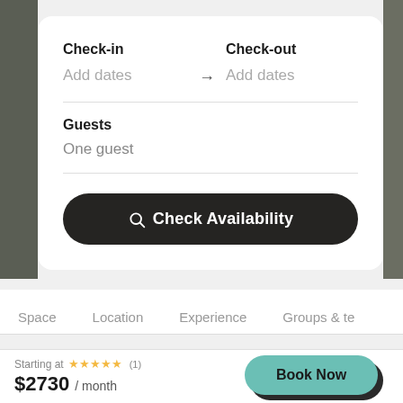Check-in
Add dates
Check-out
Add dates
Guests
One guest
Check Availability
Space
Location
Experience
Groups & te
Starting at ★★★★★ (1) $2730 / month
Book Now